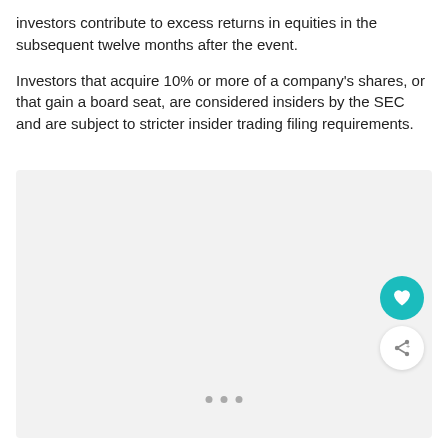investors contribute to excess returns in equities in the subsequent twelve months after the event.
Investors that acquire 10% or more of a company's shares, or that gain a board seat, are considered insiders by the SEC and are subject to stricter insider trading filing requirements.
[Figure (other): Light gray placeholder content area with a teal heart/favorite button and a white share button overlaid, and three small gray dots at the bottom indicating a carousel or slideshow.]